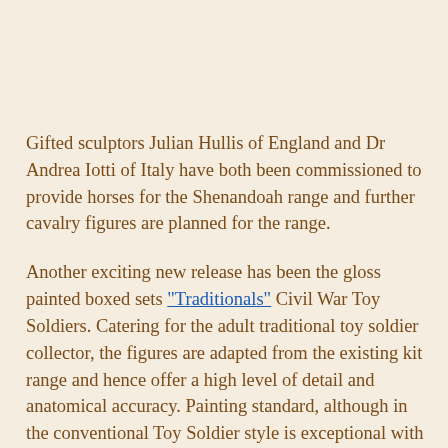Gifted sculptors Julian Hullis of England and Dr Andrea Iotti of Italy have both been commissioned to provide horses for the Shenandoah range and further cavalry figures are planned for the range.
Another exciting new release has been the gloss painted boxed sets "Traditionals" Civil War Toy Soldiers. Catering for the adult traditional toy soldier collector, the figures are adapted from the existing kit range and hence offer a high level of detail and anatomical accuracy. Painting standard, although in the conventional Toy Soldier style is exceptional with quality and finish being the prime objective. Each year, Paul travels to modelling shows and exhibitions throughout the world to display new Shenandoah releases and maintain contact with fellow producers